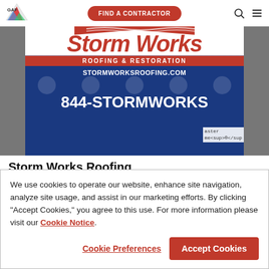[Figure (logo): GAF logo top left]
FIND A CONTRACTOR
[Figure (photo): Storm Works Roofing & Restoration banner image with phone number 844-StormWorks]
Storm Works Roofing
Serving S Boston, MA   7.7 mi
We use cookies to operate our website, enhance site navigation, analyze site usage, and assist in our marketing efforts. By clicking "Accept Cookies," you agree to this use. For more information please visit our Cookie Notice.
Cookie Preferences
Accept Cookies